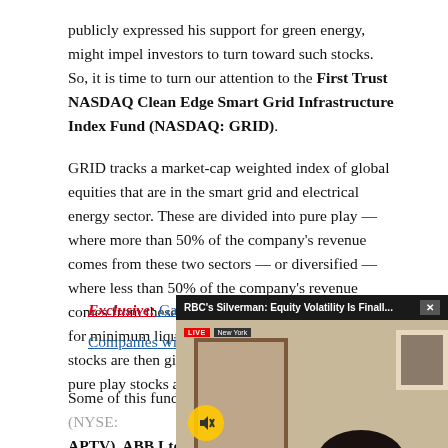publicly expressed his support for green energy, might impel investors to turn toward such stocks. So, it is time to turn our attention to the First Trust NASDAQ Clean Edge Smart Grid Infrastructure Index Fund (NASDAQ: GRID).
GRID tracks a market-cap weighted index of global equities that are in the smart grid and electrical energy sector. These are divided into pure play — where more than 50% of the company's revenue comes from these two sectors — or diversified — where less than 50% of the company's revenue comes from these two sources. After being screened for minimum liquidity and market capitalization, the stocks are then given a collective weight of 80% for pure play stocks and 20% for diversified stocks.
Exclusive: Gain E... Companies with Th...
Some of this fund's top h... APTV), ABB Ltd. (NYS...
[Figure (screenshot): Video popup overlay: 'RBC's Silverman: Equity Volatility Is Finall...' with a live video of Amy Wu Silverman, RBC Capital Managing Director, lower bar reads 'POWELL'S HAWKISH TONE HURTS SENTIMENT']